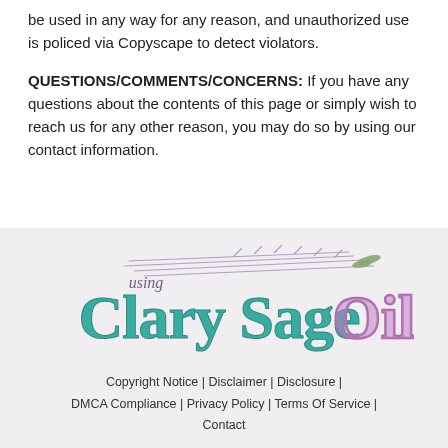be used in any way for any reason, and unauthorized use is policed via Copyscape to detect violators.
QUESTIONS/COMMENTS/CONCERNS: If you have any questions about the contents of this page or simply wish to reach us for any other reason, you may do so by using our contact information.
[Figure (logo): Using Clary Sage Oil website logo with decorative lavender branch illustration, teal and purple lettering]
Copyright Notice | Disclaimer | Disclosure | DMCA Compliance | Privacy Policy | Terms Of Service | Contact